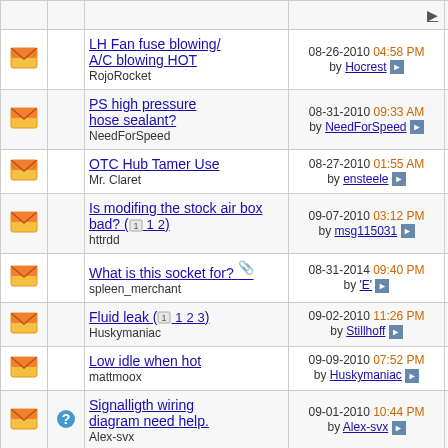|  |  | Thread Title | Last Post | Replies | Views |
| --- | --- | --- | --- | --- | --- |
| [icon] |  | LH Fan fuse blowing/ A/C blowing HOT
RojoRocket | 08-26-2010 04:58 PM by Hocrest | 1 | 5_ |
| [icon] |  | PS high pressure hose sealant?
NeedForSpeed | 08-31-2010 09:33 AM by NeedForSpeed | 5 | 9_ |
| [icon] |  | OTC Hub Tamer Use
Mr. Claret | 08-27-2010 01:55 AM by ensteele | 1 | 7_ |
| [icon] |  | Is modifing the stock air box bad? (1 2)
httrdd | 09-07-2010 03:12 PM by msg115031 | 16 | 1,1_ |
| [icon] |  | What is this socket for? [attachment]
spleen_merchant | 08-31-2014 09:40 PM by 'E' | 7 | 1,3_ |
| [icon] |  | Fluid leak (1 2 3)
Huskymaniac | 09-02-2010 11:26 PM by Stillhoff | 34 | 2,2_ |
| [icon] |  | Low idle when hot
mattmoox | 09-09-2010 07:52 PM by Huskymaniac | 8 | 1,2_ |
| [icon] | [question] | Signalligth wiring diagram need help.
Alex-svx | 09-01-2010 10:44 PM by Alex-svx | 2 | 5_ |
| [icon] |  | gsp axles...?
jamhamm | 08-31-2010 09:41 PM by svxfiles | 7 | 1,4_ |